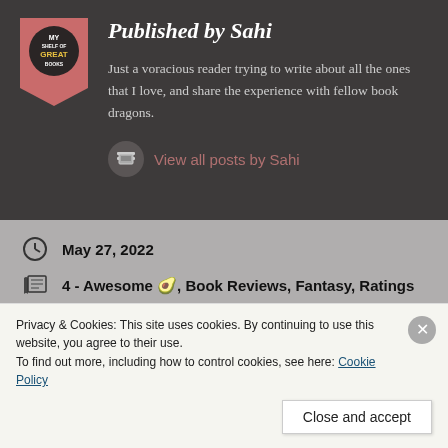Published by Sahi
Just a voracious reader trying to write about all the ones that I love, and share the experience with fellow book dragons.
View all posts by Sahi
May 27, 2022
4 - Awesome 🥑, Book Reviews, Fantasy, Ratings
Privacy & Cookies: This site uses cookies. By continuing to use this website, you agree to their use.
To find out more, including how to control cookies, see here: Cookie Policy
Close and accept